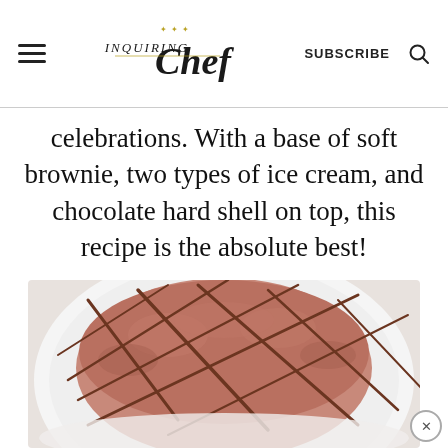Inquiring Chef | SUBSCRIBE
celebrations. With a base of soft brownie, two types of ice cream, and chocolate hard shell on top, this recipe is the absolute best!
[Figure (photo): Top-down view of an ice cream brownie cake with chocolate hard shell drizzled in a crosshatch pattern on a white plate.]